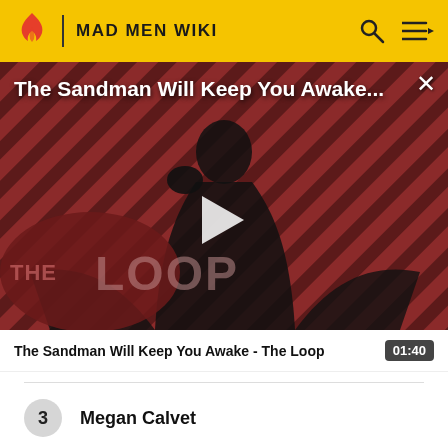MAD MEN WIKI
[Figure (screenshot): Video thumbnail for 'The Sandman Will Keep You Awake - The Loop' showing a dark figure in a black cape against a red diagonal striped background with The Loop logo overlay and a play button in the center]
The Sandman Will Keep You Awake - The Loop  01:40
3  Megan Calvet